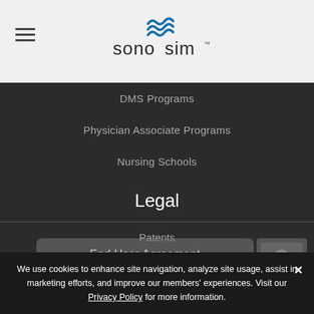[Figure (logo): SonoSim logo with blue wave icon and text 'sonosim']
DMS Programs
Physician Associate Programs
Nursing Schools
Legal
Patents
Privacy
End User Agreement
We use cookies to enhance site navigation, analyze site usage, assist in marketing efforts, and improve our members' experiences. Visit our Privacy Policy for more information.